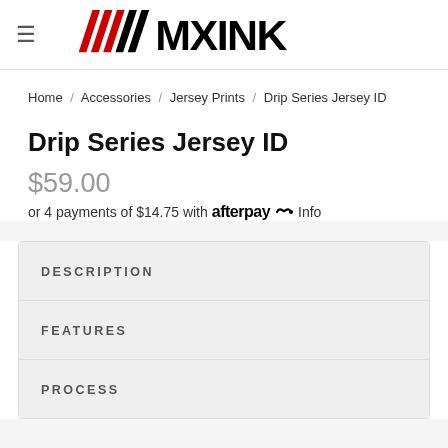[Figure (logo): MX INK logo with red and black diagonal stripe graphic and bold block letters]
Home / Accessories / Jersey Prints / Drip Series Jersey ID
Drip Series Jersey ID
$59.00
or 4 payments of $14.75 with afterpay Info
Description
Features
Process